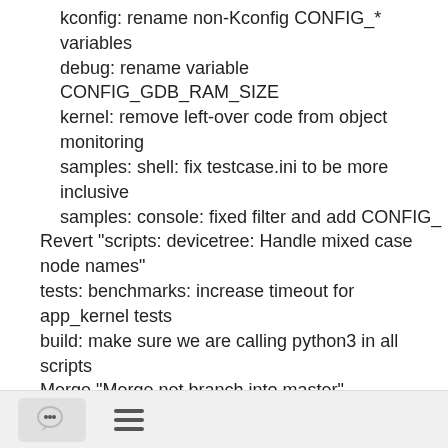kconfig: rename non-Kconfig CONFIG_* variables
debug: rename variable CONFIG_GDB_RAM_SIZE
kernel: remove left-over code from object monitoring
samples: shell: fix testcase.ini to be more inclusive
samples: console: fixed filter and add CONFIG_
Revert "scripts: devicetree: Handle mixed case node names"
tests: benchmarks: increase timeout for app_kernel tests
build: make sure we are calling python3 in all scripts
Merge "Merge net branch into master"
tests: rename ztests' assert > zassert
tests: remove legacy tag from ported tests
tests: app_kernel: enable ARM for this benchmark
tests: crypto: disable 2 tests that are ridiculously slow
kernel: mailbox: remove legacy support
kernel: thread: remove legacy support
kernel: remove legacy kernel support
kernel: remove legacy.h and MDEF support
[Figure (other): Footer bar with chat bubble icon button and hamburger menu icon]